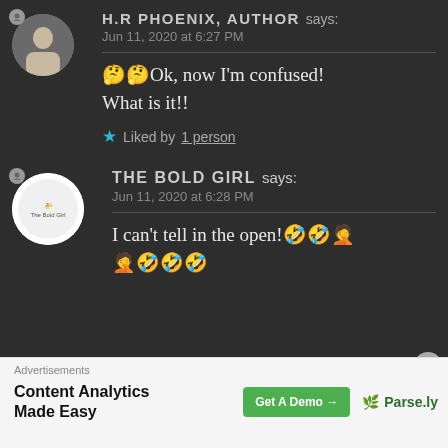H.R PHOENIX, AUTHOR says: Jun 11, 2020 at 6:27 PM
🤔🤔Ok, now I'm confused! What is it!!
★ Liked by 1 person
THE BOLD GIRL says: Jun 11, 2020 at 6:28 PM
I can't tell in the open!🤣🤣🤦 🤦🤣🤣🤣
Advertisements
Content Analytics Made Easy
Get A Demo →
🌿 Parse.ly